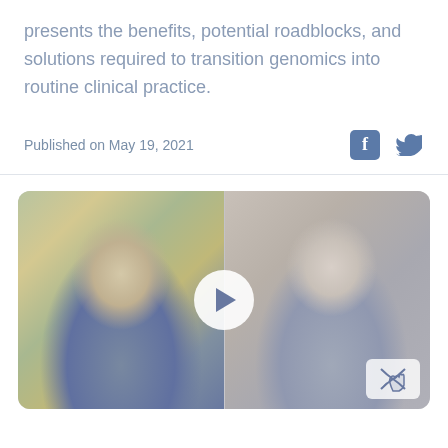presents the benefits, potential roadblocks, and solutions required to transition genomics into routine clinical practice.
Published on May 19, 2021
[Figure (photo): Video thumbnail showing two men side by side with a circular play button overlay in the center. A small logo badge is visible in the bottom right corner.]